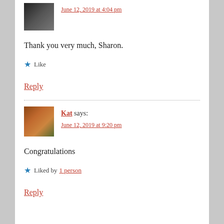[Figure (photo): Small square avatar photo of a person, dark/grayscale tones]
June 12, 2019 at 4:04 pm
Thank you very much, Sharon.
★ Like
Reply
[Figure (photo): Small square avatar photo of a woman wearing a dark hat, warm autumn tones]
Kat says:
June 12, 2019 at 9:20 pm
Congratulations
★ Liked by 1 person
Reply